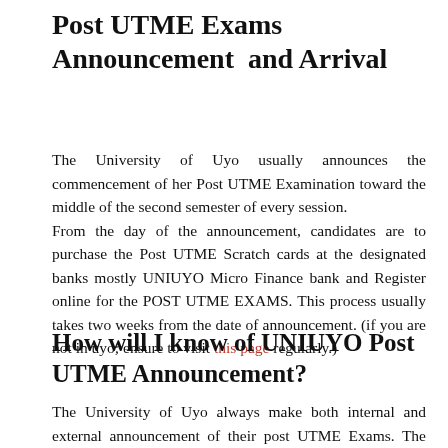Post UTME Exams Announcement  and Arrival
The University of Uyo usually announces the commencement of her Post UTME Examination toward the middle of the second semester of every session. From the day of the announcement, candidates are to purchase the Post UTME Scratch cards at the designated banks mostly UNIUYO Micro Finance bank and Register online for the POST UTME EXAMS. This process usually takes two weeks from the date of announcement. (if you are not in uyo; ensure to visit this page regularly.)
How will I know of UNIUYO Post UTME Announcement?
The University of Uyo always make both internal and external announcement of their post UTME Exams. The information is always published in National Dailies, like